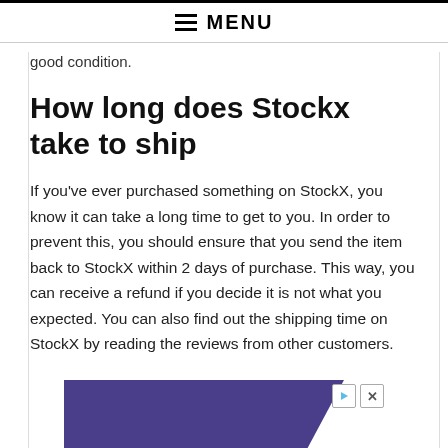MENU
good condition.
How long does Stockx take to ship
If you've ever purchased something on StockX, you know it can take a long time to get to you. In order to prevent this, you should ensure that you send the item back to StockX within 2 days of purchase. This way, you can receive a refund if you decide it is not what you expected. You can also find out the shipping time on StockX by reading the reviews from other customers.
[Figure (other): Advertisement banner with dark purple/blue background, partially visible at the bottom of the page with play and close buttons visible in upper right corner.]